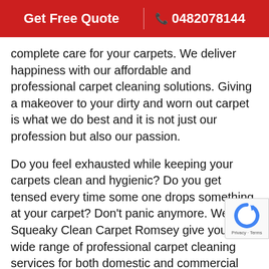Get Free Quote  |  📞 0482078144
complete care for your carpets. We deliver happiness with our affordable and professional carpet cleaning solutions. Giving a makeover to your dirty and worn out carpet is what we do best and it is not just our profession but also our passion.
Do you feel exhausted while keeping your carpets clean and hygienic? Do you get tensed every time some one drops something at your carpet? Don't panic anymore. We at Squeaky Clean Carpet Romsey give you a wide range of professional carpet cleaning services for both domestic and commercial clients. Our services include carpet steam cleaning, carpet dry cleaning, carpet flo restoration, carpet stain removal, commercial